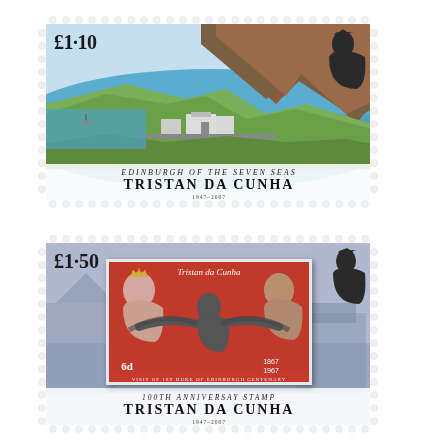[Figure (illustration): Postage stamp from Tristan da Cunha, £1.10 denomination. Shows Edinburgh of the Seven Seas landscape with coastal village, rocky cliffs, sea, and a royal silhouette in upper right corner. Text at bottom: 'Edinburgh of the Seven Seas / Tristan da Cunha / 1947-2007'. Stamp has perforated border.]
[Figure (illustration): Postage stamp from Tristan da Cunha, £1.50 denomination. Shows a purple-blue background with a smaller vintage stamp inset featuring Queen Elizabeth II profile, Duke of Edinburgh portrait, and a figure with outstretched arms. Inner stamp reads 'Tristan da Cunha', '6d', '1867 1967', 'Visit of 1st Duke of Edinburgh Centenary'. Outer stamp text: '100th Anniversary Stamp / Tristan da Cunha / 1947-2007'. Stamp has perforated border.]